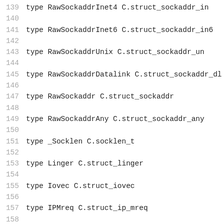139  type RawSockaddrInet4 C.struct_sockaddr_in
140
141  type RawSockaddrInet6 C.struct_sockaddr_in6
142
143  type RawSockaddrUnix C.struct_sockaddr_un
144
145  type RawSockaddrDatalink C.struct_sockaddr_dl
146
147  type RawSockaddr C.struct_sockaddr
148
149  type RawSockaddrAny C.struct_sockaddr_any
150
151  type _Socklen C.socklen_t
152
153  type Linger C.struct_linger
154
155  type Iovec C.struct_iovec
156
157  type IPMreq C.struct_ip_mreq
158
159  type IPv6Mreq C.struct_ipv6_mreq
160